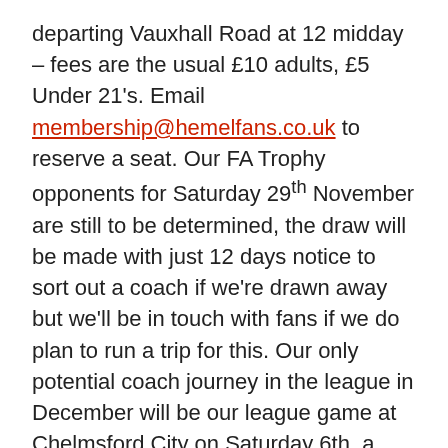departing Vauxhall Road at 12 midday – fees are the usual £10 adults, £5 Under 21's. Email membership@hemelfans.co.uk to reserve a seat. Our FA Trophy opponents for Saturday 29th November are still to be determined, the draw will be made with just 12 days notice to sort out a coach if we're drawn away but we'll be in touch with fans if we do plan to run a trip for this. Our only potential coach journey in the league in December will be our league game at Chelmsford City on Saturday 6th, a 102 mile round trip. For anyone who would be interested in this trip, please express your interest by